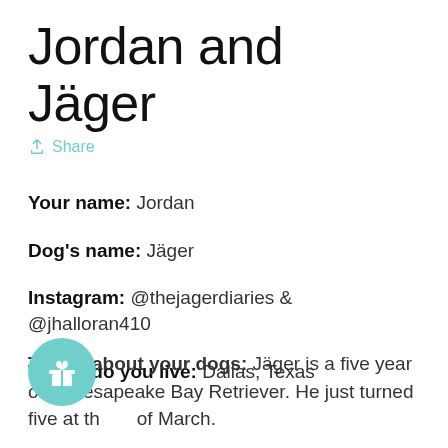Jordan and Jäger
Share
Your name: Jordan
Dog's name: Jäger
Instagram: @thejagerdiaries & @jhalloran410
Where do you live: Dallas, Texas
Tell us about your dogs: Jäger is a five year old Chesapeake Bay Retriever. He just turned five at th of March.

I love meeting new "dog people" because I could talk about him for hours! He's my best